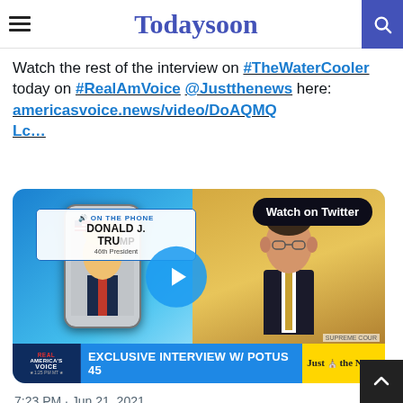Todaysoon
Watch the rest of the interview on #TheWaterCooler today on #RealAmVoice @Justthenews here: americasvoice.news/video/DoAQMQLc...
[Figure (screenshot): Embedded tweet video thumbnail showing a TV broadcast with 'ON THE PHONE DONALD TRUMP 46th President' text, a host on the right, Real America's Voice and Just the News logos, with 'EXCLUSIVE INTERVIEW W/ POTUS 45' lower third. A 'Watch on Twitter' badge and play button overlay are visible.]
7:23 PM · Jun 21, 2021